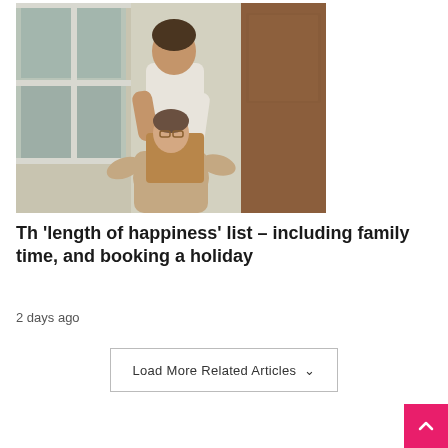[Figure (photo): A young man lifting or carrying a woman playfully indoors near a window and wooden door]
Th 'length of happiness' list – including family time, and booking a holiday
2 days ago
Load More Related Articles ∨